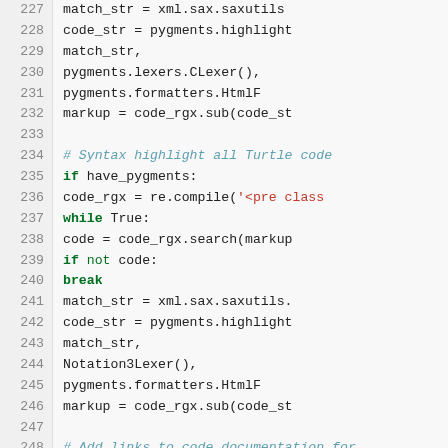[Figure (screenshot): Python source code snippet with syntax highlighting, showing lines 227-256 of a script. Line numbers in left gutter, dark text on light background. Keywords in green/bold, strings in red, comments in italic teal.]